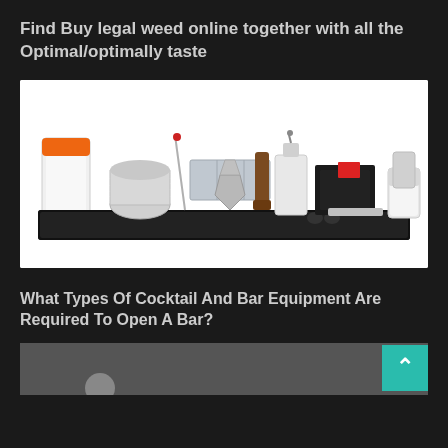Find Buy legal weed online together with all the Optimal/optimally taste
[Figure (photo): Bar tools and cocktail equipment laid out on a black bar mat against a white background, including shakers, jiggers, muddler, bottle opener, napkin holder, and other bar accessories]
What Types Of Cocktail And Bar Equipment Are Required To Open A Bar?
[Figure (photo): Partial view of another bar-related image at the bottom of the page, mostly cut off]